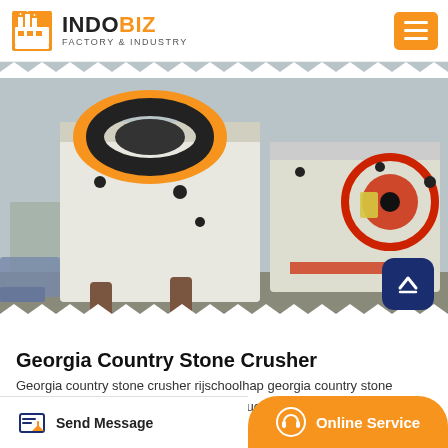INDOBIZ FACTORY & INDUSTRY
[Figure (photo): Industrial stone crusher machines photographed outdoors in a factory/yard setting. Large white machinery with orange and red accents, metal support columns, and conveyor components visible.]
Georgia Country Stone Crusher
Georgia country stone crusher rijschoolhap georgia country stone crusher AFB gives itself over to the production of crushers and mills which can be used in aggregate crushing widely used
Send Message | Online Service